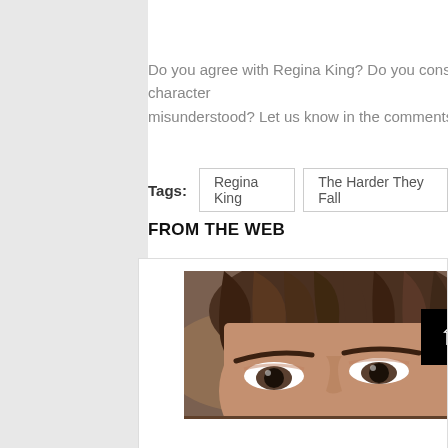Do you agree with Regina King? Do you consider characters misunderstood? Let us know in the comments.
Tags: Regina King | The Harder They Fall
FROM THE WEB
[Figure (photo): Close-up photo of a young man with brown hair, shown from forehead to eyes. A black box with an upward arrow icon is overlaid on the lower right of the image. A faded reflection of the image appears below.]